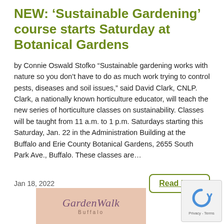NEW: ‘Sustainable Gardening’ course starts Saturday at Botanical Gardens
by Connie Oswald Stofko “Sustainable gardening works with nature so you don’t have to do as much work trying to control pests, diseases and soil issues,” said David Clark, CNLP. Clark, a nationally known horticulture educator, will teach the new series of horticulture classes on sustainability. Classes will be taught from 11 a.m. to 1 p.m. Saturdays starting this Saturday, Jan. 22 in the Administration Building at the Buffalo and Erie County Botanical Gardens, 2655 South Park Ave., Buffalo. These classes are…
Jan 18, 2022
[Figure (logo): GardenWalk Buffalo logo on pink/peach background]
[Figure (logo): reCAPTCHA badge with circular arrow icon and Privacy - Terms text]